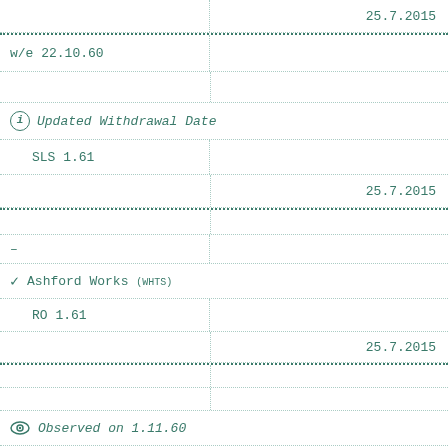25.7.2015
w/e 22.10.60
Updated Withdrawal Date
SLS 1.61
25.7.2015
-
Ashford Works (WHTS)
RO 1.61
25.7.2015
Observed on 1.11.60